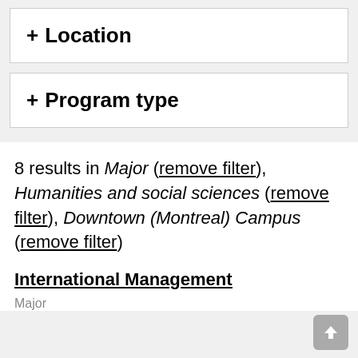+ Location
+ Program type
8 results in Major (remove filter), Humanities and social sciences (remove filter), Downtown (Montreal) Campus (remove filter)
International Management
Major